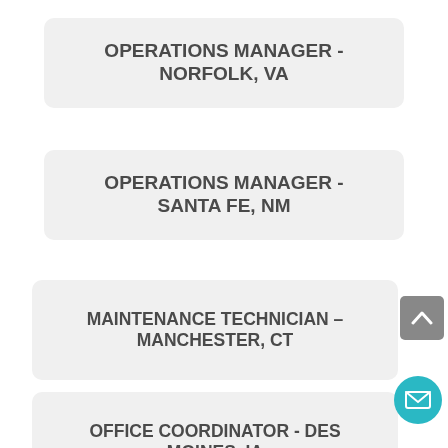OPERATIONS MANAGER - NORFOLK, VA
OPERATIONS MANAGER - SANTA FE, NM
MAINTENANCE TECHNICIAN – MANCHESTER, CT
OFFICE COORDINATOR - DES MOINES, IA
GENERAL MANAGER -